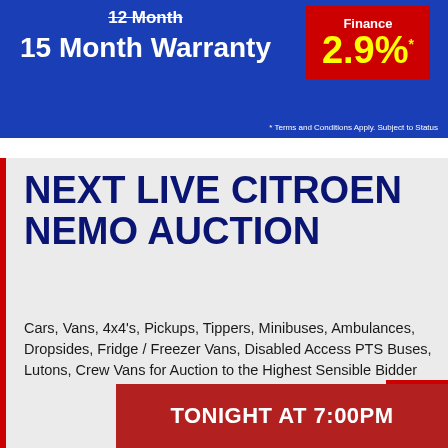[Figure (infographic): Blue banner advertising finance deal: strikethrough '12 Month' replaced by '15 Month Warranty' on left, red box on right showing 'Finance' with '2.9%' in yellow, footnote '* Terms and Conditions Apply. Subject to Status']
NEXT LIVE CITROEN NEMO AUCTION
Cars, Vans, 4x4's, Pickups, Tippers, Minibuses, Ambulances, Dropsides, Fridge / Freezer Vans, Disabled Access PTS Buses, Lutons, Crew Vans for Auction to the Highest Sensible Bidder
Tonight At 7:00pm
TONIGHT AT 7:00PM